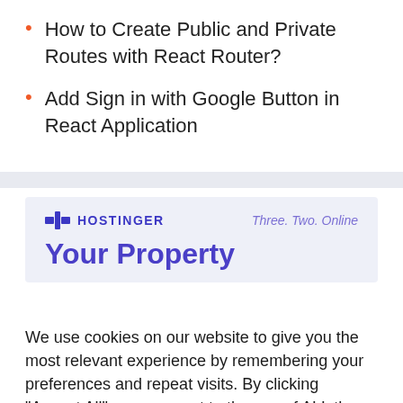How to Create Public and Private Routes with React Router?
Add Sign in with Google Button in React Application
[Figure (screenshot): Hostinger advertisement banner with logo, tagline 'Three. Two. Online', and partial heading 'Your Property']
We use cookies on our website to give you the most relevant experience by remembering your preferences and repeat visits. By clicking "Accept All", you consent to the use of ALL the cookies. However, you may visit "Cookie Settings" to provide a controlled consent.
Cookie Settings | Accept All